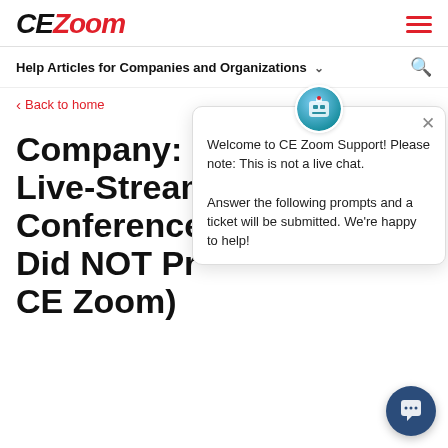CE Zoom
Help Articles for Companies and Organizations
Back to home
Company: C... Live-Streaming Conference... Did NOT Pr... (CE Zoom)
[Figure (screenshot): Chat support popup overlay with avatar icon and close button. Text: Welcome to CE Zoom Support! Please note: This is not a live chat. Answer the following prompts and a ticket will be submitted. We're happy to help!]
Please follow the directions below.